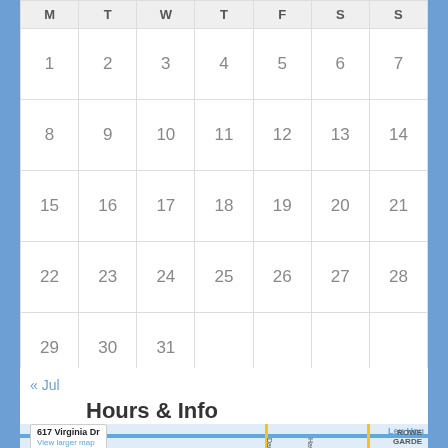| M | T | W | T | F | S | S |
| --- | --- | --- | --- | --- | --- | --- |
| 1 | 2 | 3 | 4 | 5 | 6 | 7 |
| 8 | 9 | 10 | 11 | 12 | 13 | 14 |
| 15 | 16 | 17 | 18 | 19 | 20 | 21 |
| 22 | 23 | 24 | 25 | 26 | 27 | 28 |
| 29 | 30 | 31 |  |  |  |  |
« Jul
Hours & Info
[Figure (map): Google Map showing 617 Virginia Dr with popup label, road markings, and partial labels for Leu House, Rowena Gardens, Dauphin, and Haw streets]